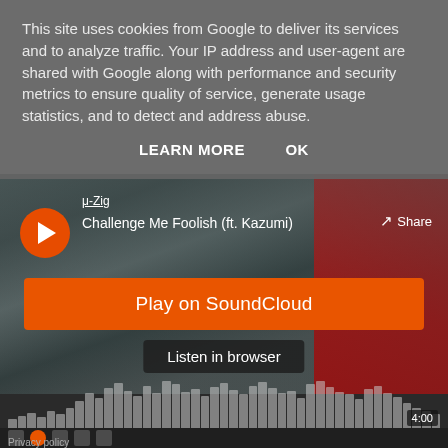This site uses cookies from Google to deliver its services and to analyze traffic. Your IP address and user-agent are shared with Google along with performance and security metrics to ensure quality of service, generate usage statistics, and to detect and address abuse.
LEARN MORE   OK
[Figure (screenshot): SoundCloud embedded music player showing track 'Challenge Me Foolish (ft. Kazumi)' by μ-Zig, with a play button, Share button, orange 'Play on SoundCloud' button, 'Listen in browser' option, waveform visualization, and a 4:00 time display. Background shows dark rocky texture with red elements.]
Privacy policy